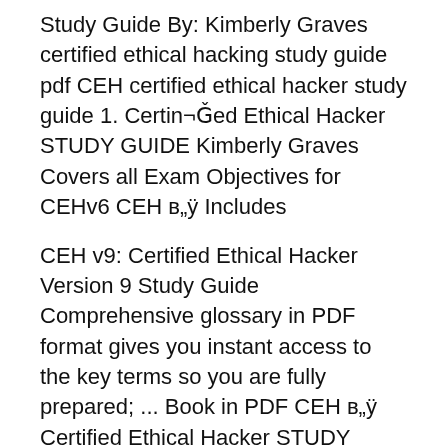Study Guide By: Kimberly Graves certified ethical hacking study guide pdf CEH certified ethical hacker study guide 1. Certin¬Ǧed Ethical Hacker STUDY GUIDE Kimberly Graves Covers all Exam Objectives for CEHv6 CEH в„ÿ Includes
CEH v9: Certified Ethical Hacker Version 9 Study Guide Comprehensive glossary in PDF format gives you instant access to the key terms so you are fully prepared; ... Book in PDF CEH в„ÿ Certified Ethical Hacker STUDY ethical hacker study guide / Kimberly Graves Certified Ethical Hacker Study Guide is
2007-02-27В В· Title: CEH: Official Certified Ethical Hacker Review Guide